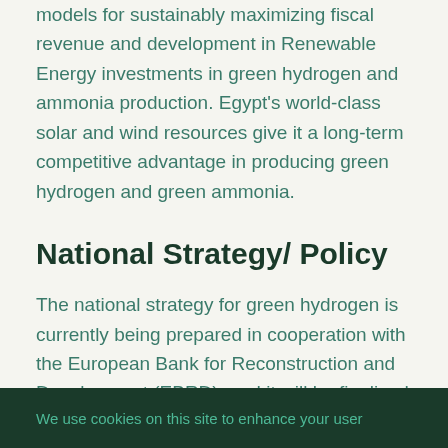models for sustainably maximizing fiscal revenue and development in Renewable Energy investments in green hydrogen and ammonia production. Egypt's world-class solar and wind resources give it a long-term competitive advantage in producing green hydrogen and green ammonia.
National Strategy/ Policy
The national strategy for green hydrogen is currently being prepared in cooperation with the European Bank for Reconstruction and Development (EBRD), and it will be finalized and
We use cookies on this site to enhance your user